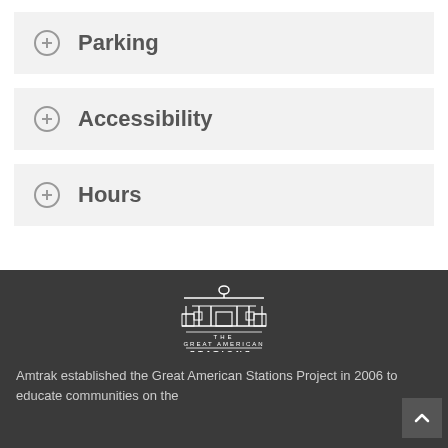Parking
Accessibility
Hours
[Figure (logo): The Great American Stations logo — an illustration of a train station building in white, with text 'THE GREAT AMERICAN STATIONS' below it, on a dark gray background.]
Amtrak established the Great American Stations Project in 2006 to educate communities on the